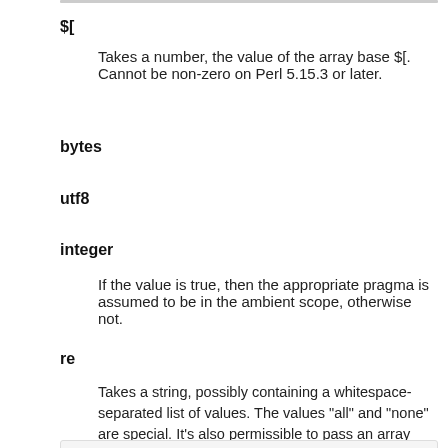$[
Takes a number, the value of the array base $[. Cannot be non-zero on Perl 5.15.3 or later.
bytes
utf8
integer
If the value is true, then the appropriate pragma is assumed to be in the ambient scope, otherwise not.
re
Takes a string, possibly containing a whitespace-separated list of values. The values "all" and "none" are special. It's also permissible to pass an array reference here.
$deparser->ambient_pragmas(re => 'eval');